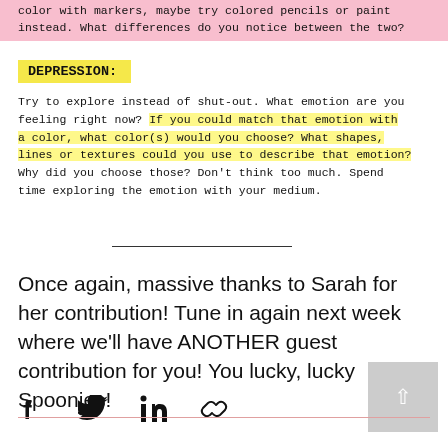color with markers, maybe try colored pencils or paint instead. What differences do you notice between the two?
DEPRESSION:
Try to explore instead of shut-out. What emotion are you feeling right now? If you could match that emotion with a color, what color(s) would you choose? What shapes, lines or textures could you use to describe that emotion? Why did you choose those? Don't think too much. Spend time exploring the emotion with your medium.
Once again, massive thanks to Sarah for her contribution! Tune in again next week where we'll have ANOTHER guest contribution for you! You lucky, lucky Spoonies!
[Figure (other): Social share icons: Facebook, Twitter, LinkedIn, and link/copy icon]